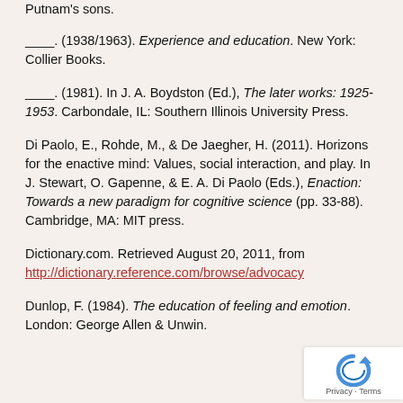Putnam's sons.
____. (1938/1963). Experience and education. New York: Collier Books.
____. (1981). In J. A. Boydston (Ed.), The later works: 1925-1953. Carbondale, IL: Southern Illinois University Press.
Di Paolo, E., Rohde, M., & De Jaegher, H. (2011). Horizons for the enactive mind: Values, social interaction, and play. In J. Stewart, O. Gapenne, & E. A. Di Paolo (Eds.), Enaction: Towards a new paradigm for cognitive science (pp. 33-88). Cambridge, MA: MIT press.
Dictionary.com. Retrieved August 20, 2011, from http://dictionary.reference.com/browse/advocacy
Dunlop, F. (1984). The education of feeling and emotion. London: George Allen & Unwin.